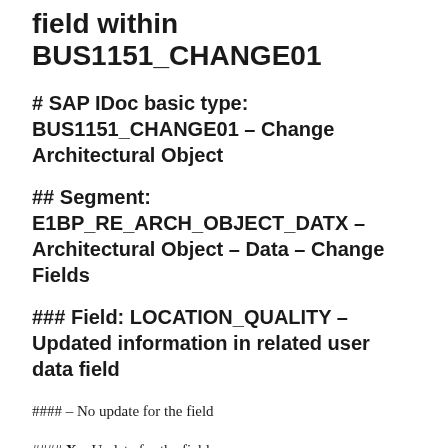field within BUS1151_CHANGE01
# SAP IDoc basic type: BUS1151_CHANGE01 – Change Architectural Object
## Segment: E1BP_RE_ARCH_OBJECT_DATX – Architectural Object – Data – Change Fields
### Field: LOCATION_QUALITY – Updated information in related user data field
#### – No update for the field
#### X – Update for the field
Possible values for